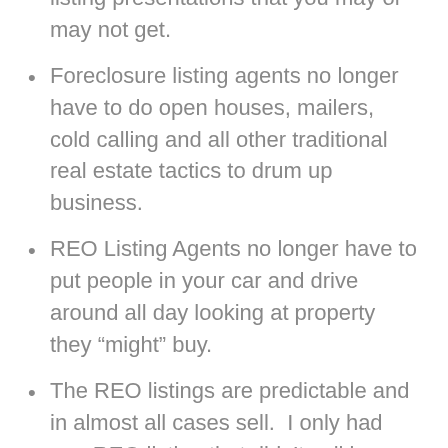listing presentations that you may or may not get.
Foreclosure listing agents no longer have to do open houses, mailers, cold calling and all other traditional real estate tactics to drum up business.
REO Listing Agents no longer have to put people in your car and drive around all day looking at property they “might” buy.
The REO listings are predictable and in almost all cases sell.  I only had one REO listing that didn’t sell in Fiddler’s Creek near Marco Island. That institution that owned it didn’t listen to any advice and eventually the asset